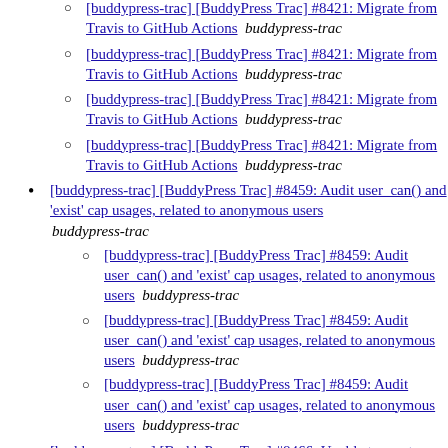[buddypress-trac] [BuddyPress Trac] #8421: Migrate from Travis to GitHub Actions  buddypress-trac (sub-item)
[buddypress-trac] [BuddyPress Trac] #8421: Migrate from Travis to GitHub Actions  buddypress-trac (sub-item)
[buddypress-trac] [BuddyPress Trac] #8421: Migrate from Travis to GitHub Actions  buddypress-trac (sub-item)
[buddypress-trac] [BuddyPress Trac] #8421: Migrate from Travis to GitHub Actions  buddypress-trac (sub-item)
[buddypress-trac] [BuddyPress Trac] #8459: Audit user_can() and 'exist' cap usages, related to anonymous users  buddypress-trac (top-level)
[buddypress-trac] [BuddyPress Trac] #8459: Audit user_can() and 'exist' cap usages, related to anonymous users  buddypress-trac (sub-item)
[buddypress-trac] [BuddyPress Trac] #8459: Audit user_can() and 'exist' cap usages, related to anonymous users  buddypress-trac (sub-item)
[buddypress-trac] [BuddyPress Trac] #8459: Audit user_can() and 'exist' cap usages, related to anonymous users  buddypress-trac (sub-item)
[buddypress-trac] [BuddyPress Trac] #8466: Unable to create groups. 7.3.0  buddypress-trac (top-level)
[buddypress-trac] [BuddyPress Trac] #8466: Unable to create groups. 7.3.0  buddypress-trac (sub-item)
[buddypress-trac] [BuddyPress Trac] #8466: Unable to create groups. 7.3.0  buddypress-trac (sub-item, partial)